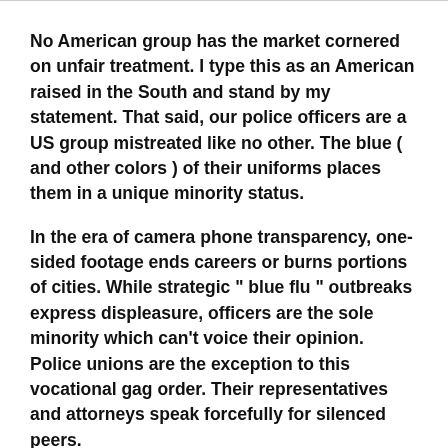No American group has the market cornered on unfair treatment. I type this as an American raised in the South and stand by my statement. That said, our police officers are a US group mistreated like no other. The blue ( and other colors ) of their uniforms places them in a unique minority status.
In the era of camera phone transparency, one-sided footage ends careers or burns portions of cities. While strategic " blue flu " outbreaks express displeasure, officers are the sole minority which can't voice their opinion. Police unions are the exception to this vocational gag order. Their representatives and attorneys speak forcefully for silenced peers.